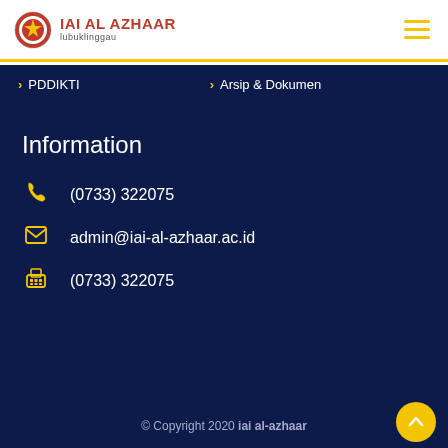[Figure (logo): IAI AL AZHAAR Lubuklinggau university logo with red emblem and text]
> PDDIKTI
> Arsip & Dokumen
Information
(0733) 322075
admin@iai-al-azhaar.ac.id
(0733) 322075
© Copyright 2020 iai al-azhaar